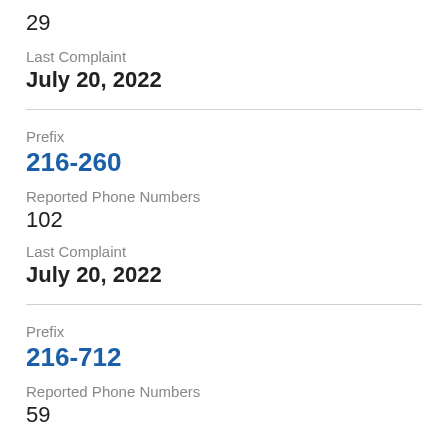29
Last Complaint
July 20, 2022
Prefix
216-260
Reported Phone Numbers
102
Last Complaint
July 20, 2022
Prefix
216-712
Reported Phone Numbers
59